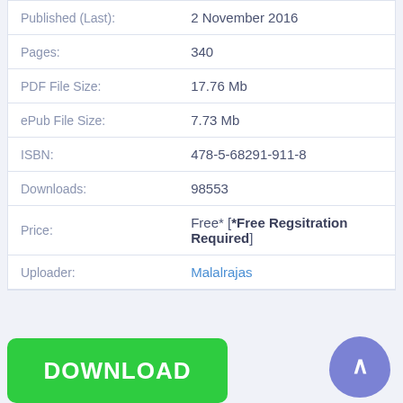| Field | Value |
| --- | --- |
| Published (Last): | 2 November 2016 |
| Pages: | 340 |
| PDF File Size: | 17.76 Mb |
| ePub File Size: | 7.73 Mb |
| ISBN: | 478-5-68291-911-8 |
| Downloads: | 98553 |
| Price: | Free* [*Free Regsitration Required] |
| Uploader: | Malalrajas |
[Figure (other): Green DOWNLOAD button at bottom left]